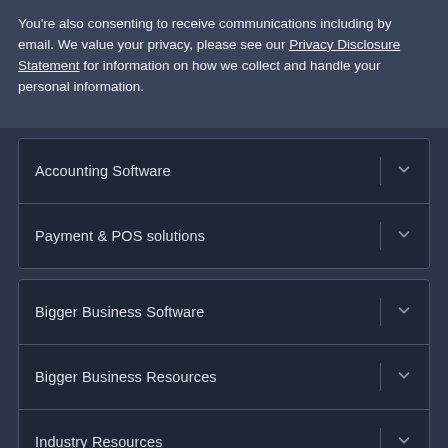You're also consenting to receive communications including by email. We value your privacy, please see our Privacy Disclosure Statement for information on how we collect and handle your personal information.
Accounting Software
Payment & POS solutions
Bigger Business Software
Bigger Business Resources
Industry Resources